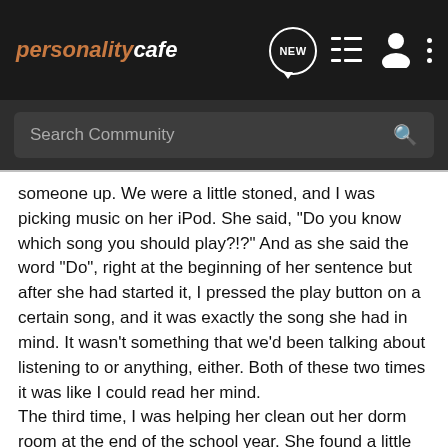personalitycafe — NEW, list, profile, more icons
Search Community
someone up. We were a little stoned, and I was picking music on her iPod. She said, "Do you know which song you should play?!?" And as she said the word "Do", right at the beginning of her sentence but after she had started it, I pressed the play button on a certain song, and it was exactly the song she had in mind. It wasn't something that we'd been talking about listening to or anything, either. Both of these two times it was like I could read her mind.
The third time, I was helping her clean out her dorm room at the end of the school year. She found a little box of rice candy and asked if I wanted it, and I said sure, but she said I had to give her the free 'children's sticker' that was inside. I ate the candy and took out the sticker, and before I unfolded it, she said, "wait, let me see it." She unfolded it and said, "ooooooh, you shouldn't have let me have it." And showed me the sticker. And